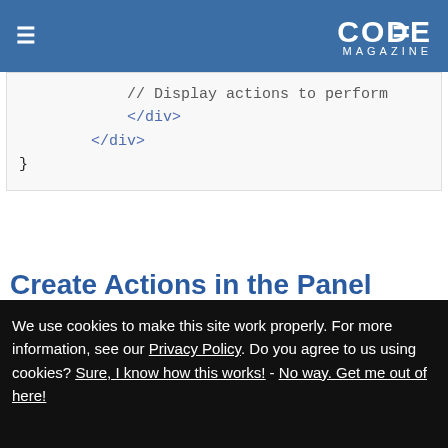CODE MAGAZINE
[Figure (screenshot): Code snippet showing HTML closing div tags and a closing curly brace: '// Display actions to perform', '</div>', '</div>', '}']
Create Actions in the Panel Footer
Add the actions for Edit and Delete by using Bootstrap glyphicons within the footer of the panel. Locate the
We use cookies to make this site work properly. For more information, see our Privacy Policy. Do you agree to us using cookies? Sure, I know how this works! - No way. Get me out of here!